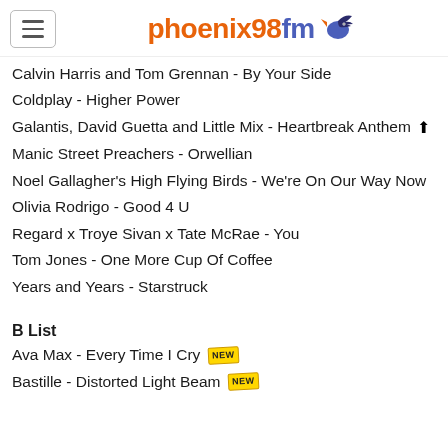phoenix98fm
Calvin Harris and Tom Grennan - By Your Side
Coldplay - Higher Power
Galantis, David Guetta and Little Mix - Heartbreak Anthem ↑
Manic Street Preachers - Orwellian
Noel Gallagher's High Flying Birds - We're On Our Way Now
Olivia Rodrigo - Good 4 U
Regard x Troye Sivan x Tate McRae - You
Tom Jones - One More Cup Of Coffee
Years and Years - Starstruck
B List
Ava Max - Every Time I Cry [NEW]
Bastille - Distorted Light Beam [NEW]